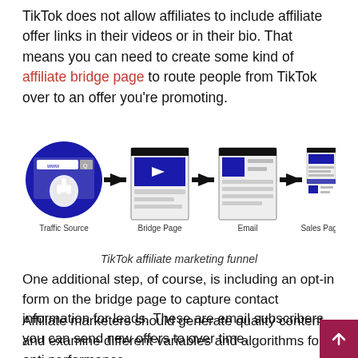TikTok does not allow affiliates to include affiliate offer links in their videos or in their bio. That means you can need to create some kind of affiliate bridge page to route people from TikTok over to an offer you're promoting.
[Figure (infographic): TikTok affiliate marketing funnel showing four steps connected by arrows: Traffic Source (browser/cursor icon), Bridge Page (video page mockup), Email (email page mockup), Sales Page (sales page mockup).]
TikTok affiliate marketing funnel
One additional step, of course, is including an opt-in form on the bridge page to capture contact information for leads. These are email subscribers you can send new offers to over time.
Affiliate marketers should generate quality content and examine different variables and algorithms for opti performance.